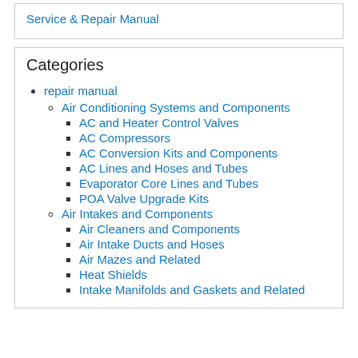Download Hymer Mongoose Velo 190 Motorcycle Service & Repair Manual
Categories
repair manual
Air Conditioning Systems and Components
AC and Heater Control Valves
AC Compressors
AC Conversion Kits and Components
AC Lines and Hoses and Tubes
Evaporator Core Lines and Tubes
POA Valve Upgrade Kits
Air Intakes and Components
Air Cleaners and Components
Air Intake Ducts and Hoses
Air Mazes and Related
Heat Shields
Intake Manifolds and Gaskets and Related